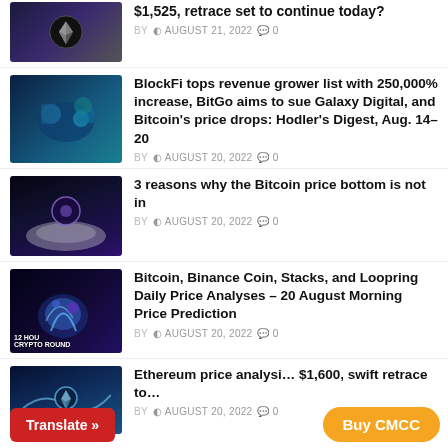[Figure (photo): Ethereum logo on dark cosmic background]
$1,525, retrace set to continue today?
BY  AUGUST 21, 2022  0
[Figure (photo): BlockFi related crypto image with person and tech elements]
BlockFi tops revenue grower list with 250,000% increase, BitGo aims to sue Galaxy Digital, and Bitcoin’s price drops: Hodler’s Digest, Aug. 14–20
BY  AUGUST 20, 2022  0
[Figure (photo): Dark artistic image for Bitcoin price bottom article]
3 reasons why the Bitcoin price bottom is not in
BY  AUGUST 20, 2022  0
[Figure (photo): Crypto roundup image with blue glowing animal, 12 HOU CRYPTO ROUND text]
Bitcoin, Binance Coin, Stacks, and Loopring Daily Price Analyses – 20 August Morning Price Prediction
BY  AUGUST 20, 2022  0
[Figure (photo): Ethereum ocean wave image]
Ethereum price analysi... $1,600, swift retrace to...
BY  AUGUST 20, 2022  0